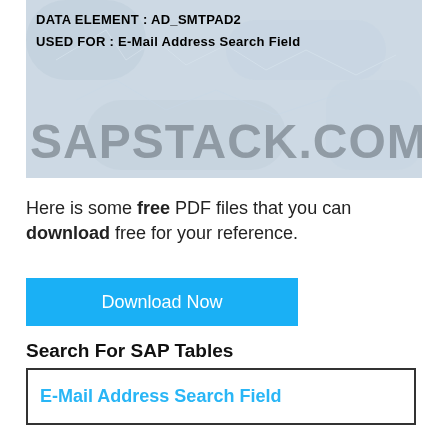[Figure (illustration): Banner image with frost/ice crystal background texture. Contains bold text 'DATA ELEMENT : AD_SMTPAD2' and 'USED FOR : E-Mail Address Search Field' at top. Large watermark text 'SAPSTACK.COM' overlaid in gray across the lower portion of the image.]
Here is some free PDF files that you can download free for your reference.
[Figure (other): Blue button labeled 'Download Now']
Search For SAP Tables
E-Mail Address Search Field